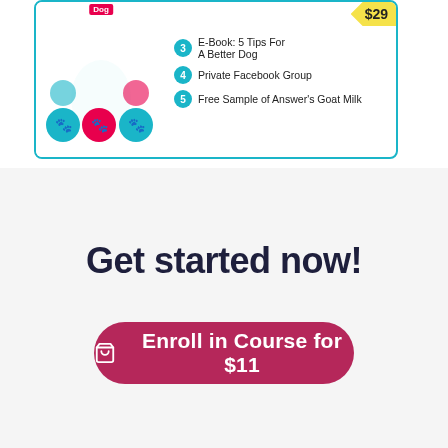[Figure (infographic): Infographic card showing dog-related product bundle with paw print circles, numbered list items: 3. E-Book: 5 Tips For A Better Dog, 4. Private Facebook Group, 5. Free Sample of Answer's Goat Milk, and a price tag of $29]
Get started now!
Enroll in Course for $11